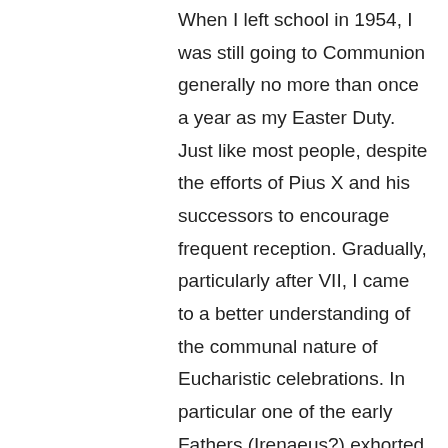When I left school in 1954, I was still going to Communion generally no more than once a year as my Easter Duty. Just like most people, despite the efforts of Pius X and his successors to encourage frequent reception. Gradually, particularly after VII, I came to a better understanding of the communal nature of Eucharistic celebrations. In particular one of the early Fathers (Irenaeus?) exhorted attendance at church 'so as not to deprive others of my support'. As part of that, despite late rising not infrequently meaning I fail the